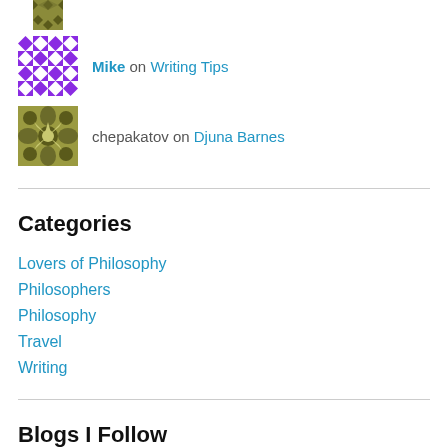[Figure (illustration): Avatar icon with olive/khaki geometric star/snowflake pattern]
Mike on Writing Tips
[Figure (illustration): Avatar icon with purple and white diamond checkerboard pattern]
Mike on Writing Tips
[Figure (illustration): Avatar icon with olive/khaki geometric flower/star pattern]
chepakatov on Djuna Barnes
Categories
Lovers of Philosophy
Philosophers
Philosophy
Travel
Writing
Blogs I Follow
Oh! Platypus